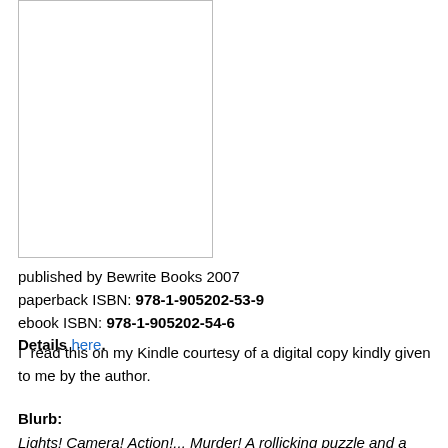[Figure (illustration): Book cover image placeholder — blank white rectangle with thin border]
published by Bewrite Books 2007
paperback ISBN: 978-1-905202-53-9
ebook ISBN: 978-1-905202-54-6
Details here.
I  read this on my Kindle courtesy of a digital copy kindly given to me by the author.
Blurb:
Lights! Camera! Action!... Murder! A rollicking puzzle and a